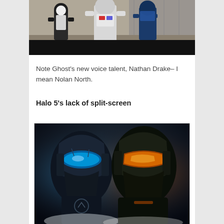[Figure (photo): Screenshot from a video game showing armored characters in white and black armor walking, with a black bar at the bottom of the image.]
Note Ghost's new voice talent, Nathan Drake– I mean Nolan North.
Halo 5's lack of split-screen
[Figure (photo): Promotional image for Halo 5 showing two armored figures facing each other — one with blue visor on the left and one with orange/gold visor on the right, against a dark atmospheric background.]